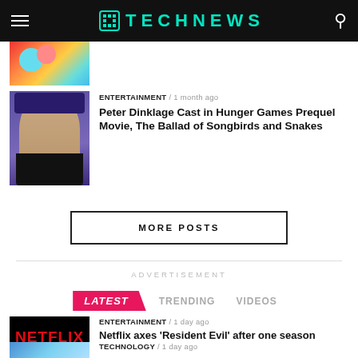TECHNEWS
[Figure (photo): Partial top article thumbnail – colorful cartoon/illustration image]
[Figure (photo): Peter Dinklage headshot photo against purple background]
ENTERTAINMENT / 1 month ago
Peter Dinklage Cast in Hunger Games Prequel Movie, The Ballad of Songbirds and Snakes
MORE POSTS
ADVERTISEMENT
LATEST   TRENDING   VIDEOS
[Figure (photo): Netflix logo on dark background]
ENTERTAINMENT / 1 day ago
Netflix axes 'Resident Evil' after one season
TECHNOLOGY / 1 day ago